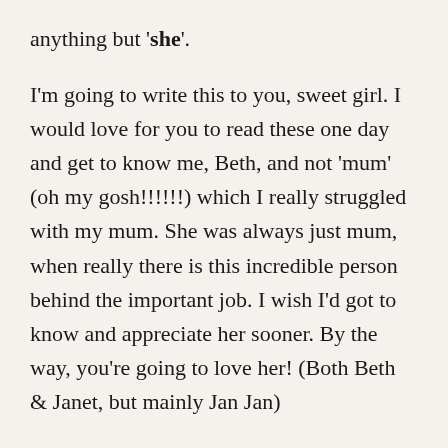anything but 'she'.
I'm going to write this to you, sweet girl. I would love for you to read these one day and get to know me, Beth, and not 'mum' (oh my gosh!!!!!!) which I really struggled with my mum. She was always just mum, when really there is this incredible person behind the important job. I wish I'd got to know and appreciate her sooner. By the way, you're going to love her! (Both Beth & Janet, but mainly Jan Jan)
We knew from the very first day you'd be a girl.  I dreamt about you as we left our honeymoon in Mexico. Perhaps it was because all of the wedding mania and our million holidays were done and we